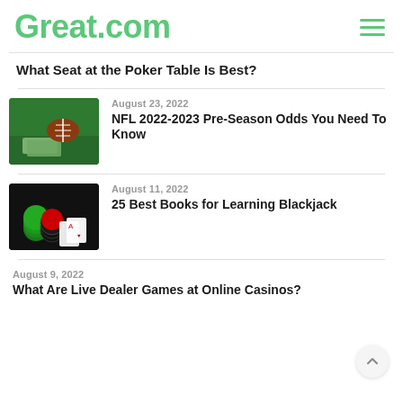Great.com
What Seat at the Poker Table Is Best?
August 23, 2022
NFL 2022-2023 Pre-Season Odds You Need To Know
August 11, 2022
25 Best Books for Learning Blackjack
August 9, 2022
What Are Live Dealer Games at Online Casinos?